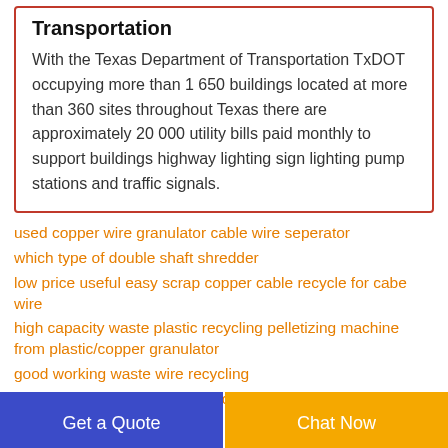Transportation
With the Texas Department of Transportation TxDOT occupying more than 1 650 buildings located at more than 360 sites throughout Texas there are approximately 20 000 utility bills paid monthly to support buildings highway lighting sign lighting pump stations and traffic signals.
used copper wire granulator cable wire seperator
which type of double shaft shredder
low price useful easy scrap copper cable recycle for cabe wire
high capacity waste plastic recycling pelletizing machine from plastic/copper granulator
good working waste wire recycling
top quality auto copper wire recycling machine from china for